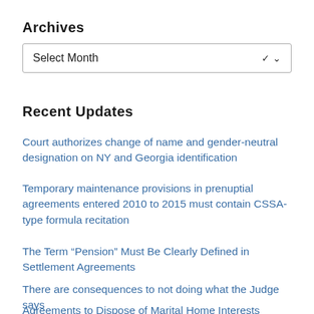Archives
[Figure (screenshot): Dropdown selector showing 'Select Month' with a chevron arrow on the right]
Recent Updates
Court authorizes change of name and gender-neutral designation on NY and Georgia identification
Temporary maintenance provisions in prenuptial agreements entered 2010 to 2015 must contain CSSA-type formula recitation
The Term “Pension” Must Be Clearly Defined in Settlement Agreements
There are consequences to not doing what the Judge says
Agreements to Dispose of Marital Home Interests